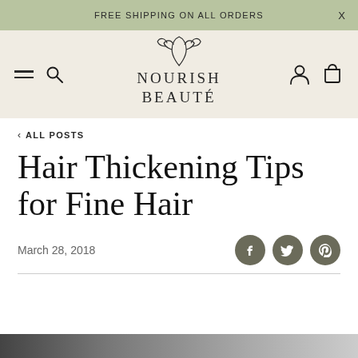FREE SHIPPING ON ALL ORDERS
[Figure (logo): Nourish Beauté logo with stylized lotus/leaf icon above the text NOURISH BEAUTÉ]
< ALL POSTS
Hair Thickening Tips for Fine Hair
March 28, 2018